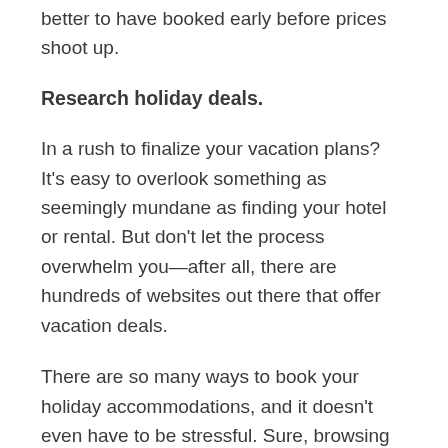better to have booked early before prices shoot up.
Research holiday deals.
In a rush to finalize your vacation plans? It's easy to overlook something as seemingly mundane as finding your hotel or rental. But don't let the process overwhelm you—after all, there are hundreds of websites out there that offer vacation deals.
There are so many ways to book your holiday accommodations, and it doesn't even have to be stressful. Sure, browsing hotels or vacation rentals on sites like Booking.com and Airbnb is fun, but it's a lot more fun if you skip straight to the good stuff. Be creative in your search, and